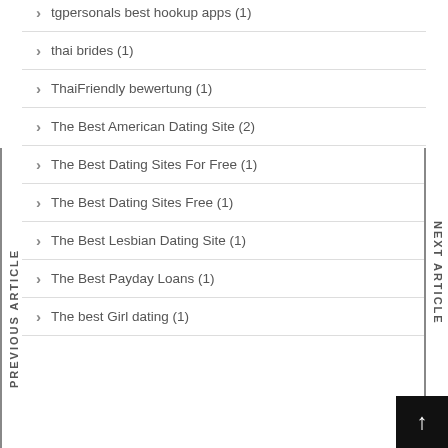tgpersonals best hookup apps (1)
thai brides (1)
ThaiFriendly bewertung (1)
The Best American Dating Site (2)
The Best Dating Sites For Free (1)
The Best Dating Sites Free (1)
The Best Lesbian Dating Site (1)
The Best Payday Loans (1)
The best Girl dating (1)